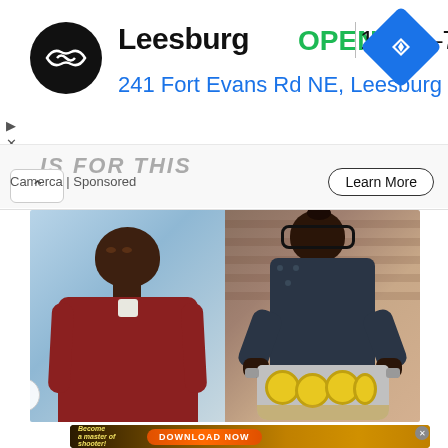[Figure (screenshot): Advertisement banner for a store in Leesburg showing logo, OPEN status, hours 10AM-7PM, address 241 Fort Evans Rd NE Leesburg, and a navigation arrow icon]
[Figure (screenshot): Partial ad unit showing truncated text, Camerca Sponsored label, and Learn More button]
[Figure (photo): Side-by-side before/after photos of a person, left showing heavier man in red shirt against blue background, right showing same man now thinner wearing glasses and dark patterned shirt holding a pot with lemon slices]
[Figure (screenshot): Mobile game advertisement banner showing 'Become a master of shooter! DOWNLOAD NOW' with colorful game graphics]